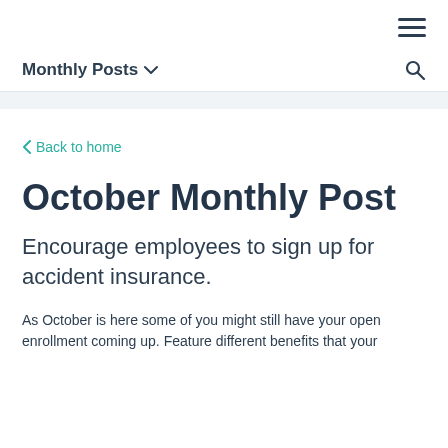≡
Monthly Posts ∨  🔍
< Back to home
October Monthly Post
Encourage employees to sign up for accident insurance.
As October is here some of you might still have your open enrollment coming up. Feature different benefits that your